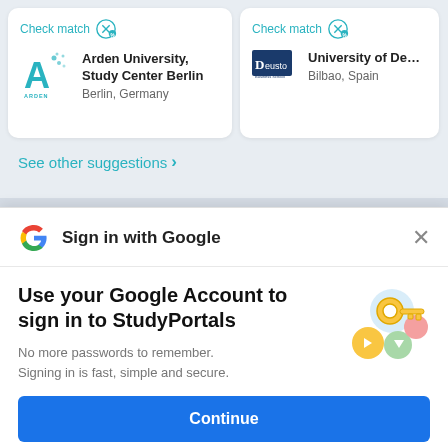[Figure (screenshot): University card for Arden University, Study Center Berlin, Berlin Germany with Check match button and teal A logo]
[Figure (screenshot): Partial university card for University of Deusto, Bilbao Spain with Check match button and Deusto logo]
See other suggestions >
Sign in with Google
Use your Google Account to sign in to StudyPortals
No more passwords to remember. Signing in is fast, simple and secure.
[Figure (illustration): Colorful illustration of a golden key with blue, green, orange, red circular shapes]
Continue